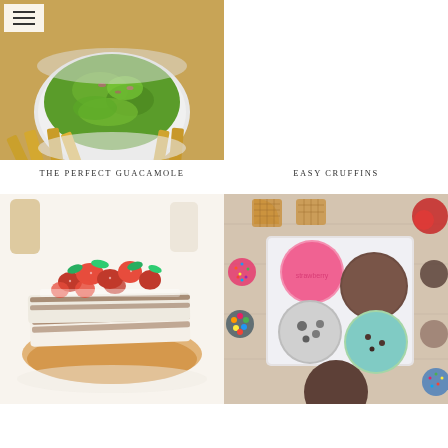[Figure (photo): Bowl of fresh guacamole with chips on a wooden board]
[Figure (photo): Empty right column top — no image visible (cropped out)]
THE PERFECT GUACAMOLE
EASY CRUFFINS
[Figure (photo): Grilled halloumi with fresh strawberries and mint on a plate]
[Figure (photo): Ice cream sundae bar with multiple flavors and toppings in bowls]